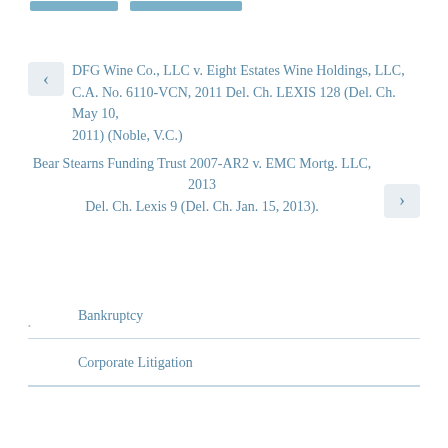< DFG Wine Co., LLC v. Eight Estates Wine Holdings, LLC, C.A. No. 6110-VCN, 2011 Del. Ch. LEXIS 128 (Del. Ch. May 10, 2011) (Noble, V.C.)
Bear Stearns Funding Trust 2007-AR2 v. EMC Mortg. LLC, 2013 Del. Ch. Lexis 9 (Del. Ch. Jan. 15, 2013). >
Bankruptcy
Corporate Litigation